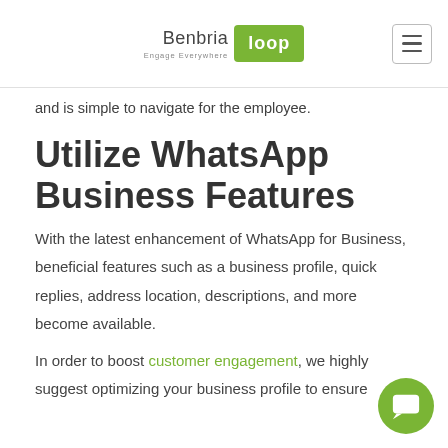Benbria Loop — Engage Everywhere
and is simple to navigate for the employee.
Utilize WhatsApp Business Features
With the latest enhancement of WhatsApp for Business, beneficial features such as a business profile, quick replies, address location, descriptions, and more become available.
In order to boost customer engagement, we highly suggest optimizing your business profile to ensure